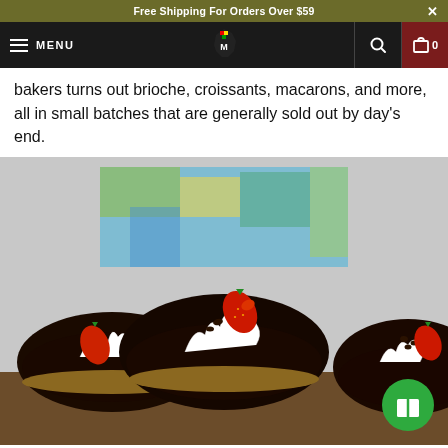Free Shipping For Orders Over $59
MENU  [logo]  [search] [cart 0]
bakers turns out brioche, croissants, macarons, and more, all in small batches that are generally sold out by day's end.
[Figure (photo): Three chocolate-glazed dome pastries topped with swirls of whipped cream, chocolate chips, and fresh strawberry slices, displayed on a wooden surface with a colorful abstract painting in the background.]